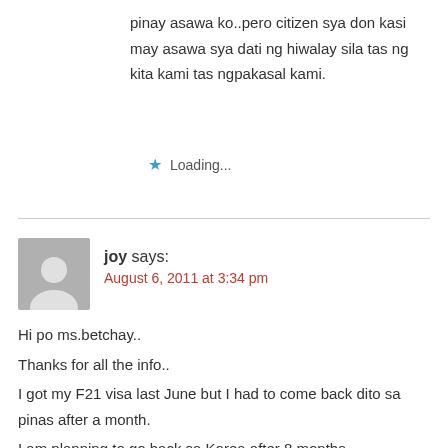pinay asawa ko..pero citizen sya don kasi may asawa sya dati ng hiwalay sila tas ng kita kami tas ngpakasal kami.
★ Loading...
joy says:
August 6, 2011 at 3:34 pm
Hi po ms.betchay..
Thanks for all the info..
I got my F21 visa last June but I had to come back dito sa pinas after a month.
I am planning to go back sa Korea after 8 months..